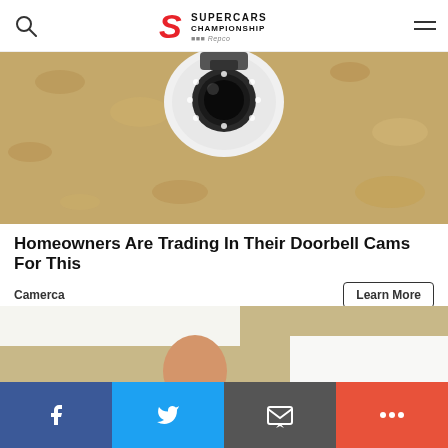Supercars Championship Repco
[Figure (photo): Close-up photo of a security camera mounted on a textured sandy/stucco wall, viewed from below]
Homeowners Are Trading In Their Doorbell Cams For This
Camerca    Learn More
[Figure (photo): A bald man in a white t-shirt painting a wall with a paint roller in a beige room]
Facebook  Twitter  Email  More